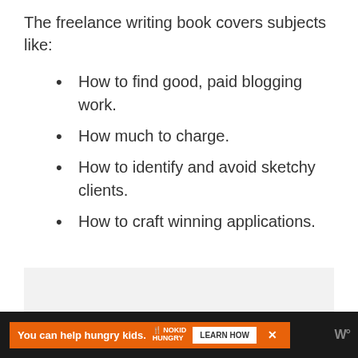The freelance writing book covers subjects like:
How to find good, paid blogging work.
How much to charge.
How to identify and avoid sketchy clients.
How to craft winning applications.
[Figure (other): Light gray advertisement placeholder box]
[Figure (other): Dark banner advertisement: 'You can help hungry kids.' with No Kid Hungry logo and Learn How button, with close X button and WW logo]